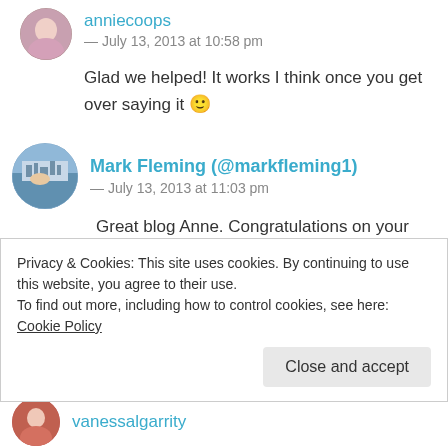anniecoops — July 13, 2013 at 10:58 pm
Glad we helped! It works I think once you get over saying it 🙂
Mark Fleming (@markfleming1) — July 13, 2013 at 11:03 pm
Great blog Anne. Congratulations on your first year.As you know I'm new to tweeting and blogging but learning day by day. Have enjoyed
Privacy & Cookies: This site uses cookies. By continuing to use this website, you agree to their use.
To find out more, including how to control cookies, see here: Cookie Policy
Close and accept
vanessalgarrity